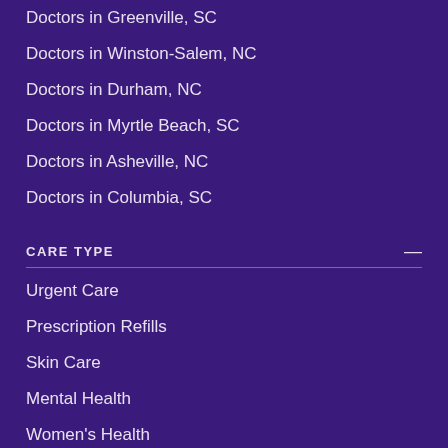Doctors in Greenville, SC
Doctors in Winston-Salem, NC
Doctors in Durham, NC
Doctors in Myrtle Beach, SC
Doctors in Asheville, NC
Doctors in Columbia, SC
CARE TYPE
Urgent Care
Prescription Refills
Skin Care
Mental Health
Women's Health
Men's Health